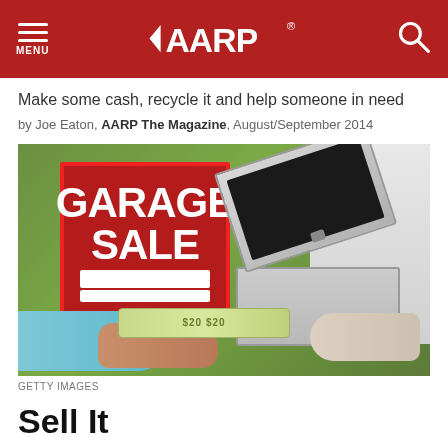MENU | AARP | Search
Make some cash, recycle it and help someone in need
by Joe Eaton, AARP The Magazine, August/September 2014
[Figure (photo): A person handing cash to another person holding an open metal cash box, with a red Garage Sale sign visible in the background on a green lawn.]
GETTY IMAGES
Sell It